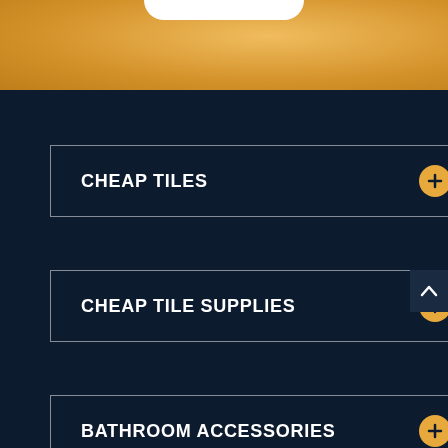[Figure (screenshot): Top banner with golden/amber texture background and a white rounded notch at the top center]
CHEAP TILES
CHEAP TILE SUPPLIES
BATHROOM ACCESSORIES